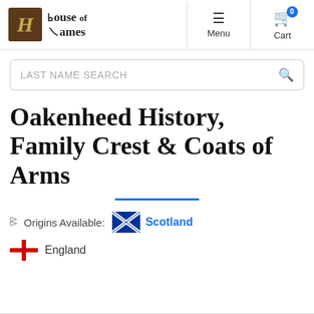[Figure (logo): House of Names logo — brown square with stylized gold H, next to blackletter text 'House of Names']
Menu | Cart 0
LAST NAME SEARCH
Oakenheed History, Family Crest & Coats of Arms
Origins Available: Scotland | England